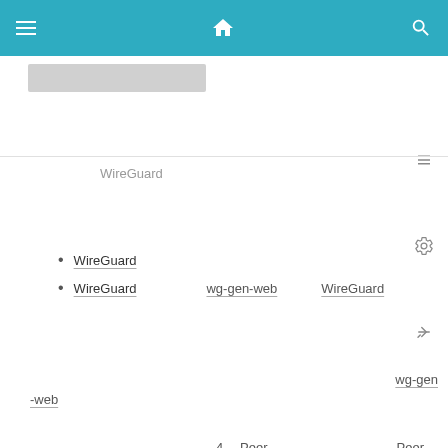[Figure (screenshot): Mobile app top navigation bar in teal/cyan color with hamburger menu on left, home icon in center, search icon on right]
[Figure (screenshot): Small thumbnail image placeholder at top of content area]
WireGuard
WireGuard
WireGuard   wg-gen-web   WireGuard
wg-gen
-web
4  Peer  Peer
wg-gen-web   wg-gen-web   Peer
AWS   wg-gen-web